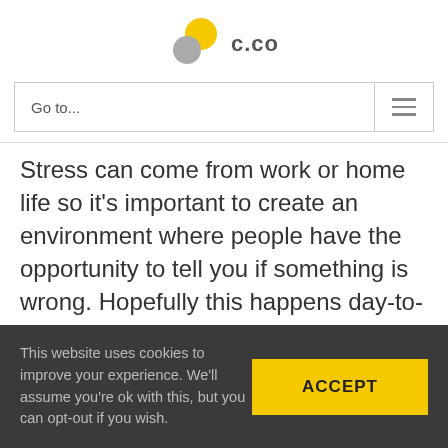[Figure (logo): c.co logo with two overlapping circles (yellow and grey) and the text 'c.co']
[Figure (other): Navigation bar with 'Go to...' text and hamburger menu icon]
Stress can come from work or home life so it's important to create an environment where people have the opportunity to tell you if something is wrong. Hopefully this happens day-to-day but creating designated space for regular 1-2-1s or catch ups is still important.
This website uses cookies to improve your experience. We'll assume you're ok with this, but you can opt-out if you wish.